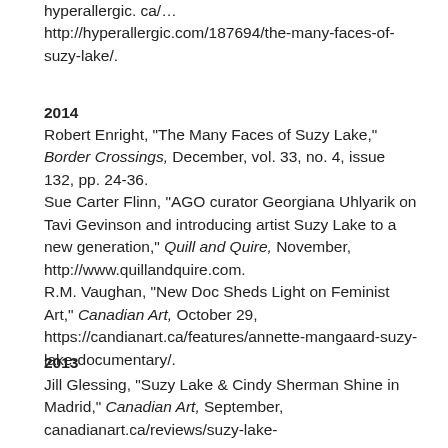hyperallergic.ca/…many-faces-of-suzy-lake/.
2014
Robert Enright, "The Many Faces of Suzy Lake," Border Crossings, December, vol. 33, no. 4, issue 132, pp. 24-36. Sue Carter Flinn, "AGO curator Georgiana Uhlyarik on Tavi Gevinson and introducing artist Suzy Lake to a new generation," Quill and Quire, November, http://www.quillandquire.com. R.M. Vaughan, "New Doc Sheds Light on Feminist Art," Canadian Art, October 29, https://candianart.ca/features/annette-mangaard-suzy-lake-documentary/.
2013
Jill Glessing, "Suzy Lake & Cindy Sherman Shine in Madrid," Canadian Art, September, canadianart.ca/reviews/suzy-lake-…